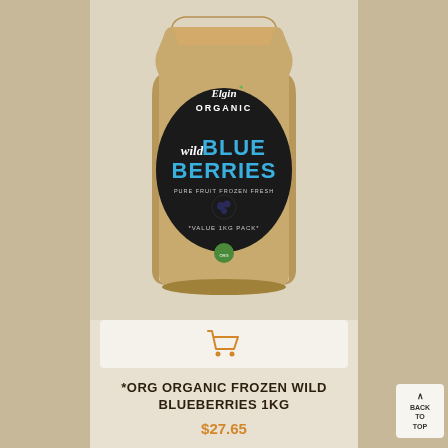[Figure (photo): Elgin Organic Wild Blueberries 1KG kraft paper bag product shot on burlap background. The bag has a black oval label with 'Elgin Organic' at top, 'WILD BLUE BERRIES' in large blue text, 'PURE FRUIT FROZEN FRESH' and 'VALUE 1KG PACK' in smaller white text, plus a blueberry graphic.]
[Figure (other): Shopping cart icon in orange/amber color inside a white rounded rectangle button]
*ORG ORGANIC FROZEN WILD BLUEBERRIES 1KG
$27.65